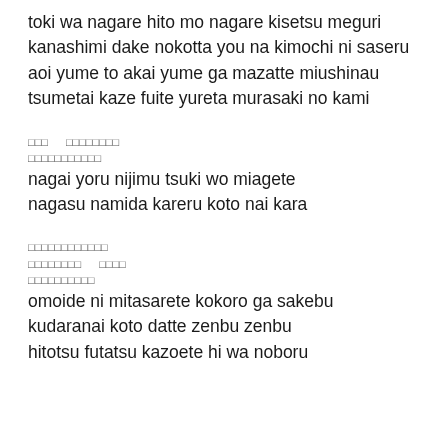toki wa nagare hito mo nagare kisetsu meguri
kanashimi dake nokotta you na kimochi ni saseru
aoi yume to akai yume ga mazatte miushinau
tsumetai kaze fuite yureta murasaki no kami
□□□　□□□□□□□□
□□□□□□□□□□□
nagai yoru nijimu tsuki wo miagete
nagasu namida kareru koto nai kara
□□□□□□□□□□□□
□□□□□□□□　□□□□
□□□□□□□□□□
omoide ni mitasarete kokoro ga sakebu
kudaranai koto datte zenbu zenbu
hitotsu futatsu kazoete hi wa noboru